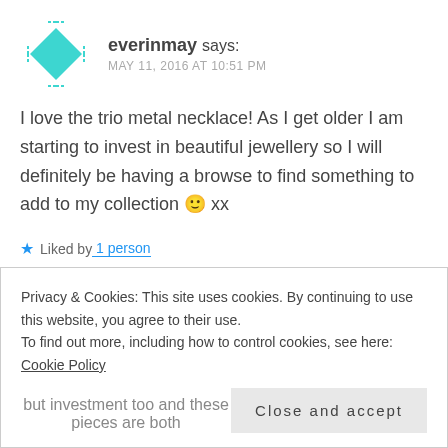[Figure (illustration): Teal diamond/gem avatar icon with dashed border corners, serving as user profile picture for everinmay]
everinmay says:
MAY 11, 2016 AT 10:51 PM
I love the trio metal necklace! As I get older I am starting to invest in beautiful jewellery so I will definitely be having a browse to find something to add to my collection 🙂 xx
★ Liked by 1 person
REPLY ↩
Privacy & Cookies: This site uses cookies. By continuing to use this website, you agree to their use.
To find out more, including how to control cookies, see here: Cookie Policy
Close and accept
but investment too and these pieces are both